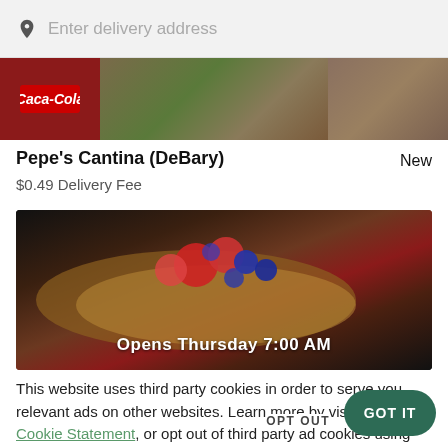Enter delivery address
[Figure (photo): Food images strip showing Coca-Cola branded items, sandwiches, tacos, and various food dishes]
Pepe's Cantina (DeBary)
New
$0.49 Delivery Fee
[Figure (photo): Dark food photo showing pastry/toast with berries (strawberries and blueberries). Partially visible text: Opens Thursday 7:00 AM]
Opens Thursday 7:00 AM
This website uses third party cookies in order to serve you relevant ads on other websites. Learn more by visiting our Cookie Statement, or opt out of third party ad cookies using the button below.
OPT OUT
GOT IT